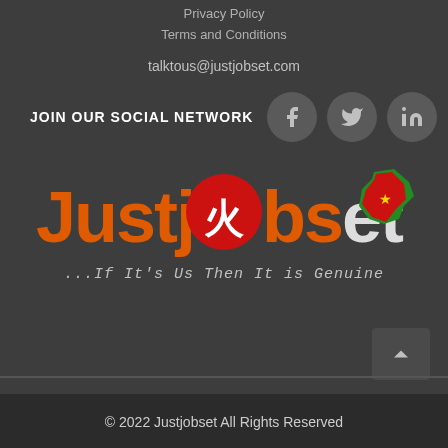Privacy Policy
Terms and Conditions
talktous@justjobset.com
JOIN OUR SOCIAL NETWORK
[Figure (logo): JustJobset logo with orange text, red circle icon, and Ethiopia map graphic]
...If It's Us Then It is Genuine
© 2022 Justjobset All Rights Reserved